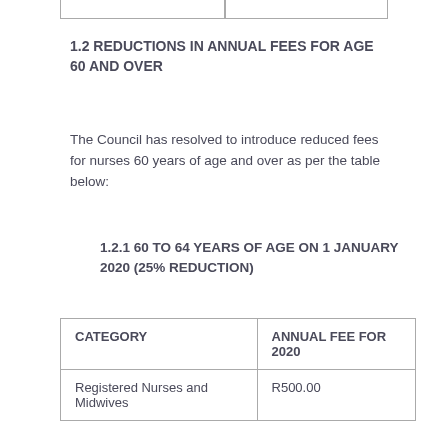1.2 REDUCTIONS IN ANNUAL FEES FOR AGE 60 AND OVER
The Council has resolved to introduce reduced fees for nurses 60 years of age and over as per the table below:
1.2.1 60 TO 64 YEARS OF AGE ON 1 JANUARY 2020 (25% REDUCTION)
| CATEGORY | ANNUAL FEE FOR 2020 |
| --- | --- |
| Registered Nurses and Midwives | R500.00 |